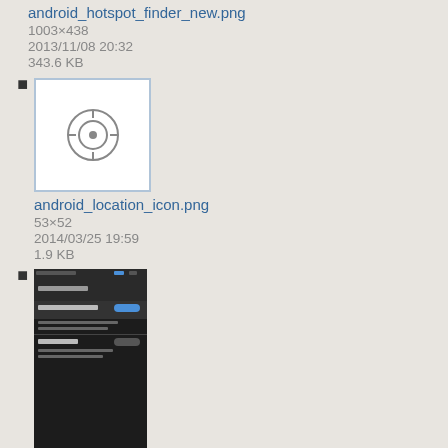android_hotspot_finder_new.png
1003×438
2013/11/08 20:32
343.6 KB
android_location_icon.png
53×52
2014/03/25 19:59
1.9 KB
android_manage_notfications_screen.png
1080×1920
2015/01/06 23:11
128.6 KB